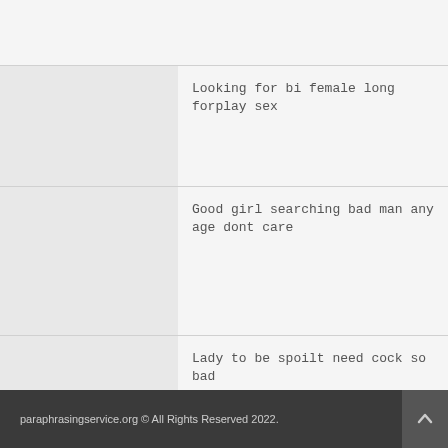Looking for bi female long forplay sex
Good girl searching bad man any age dont care
Lady to be spoilt need cock so bad
paraphrasingservice.org © All Rights Reserved 2022.